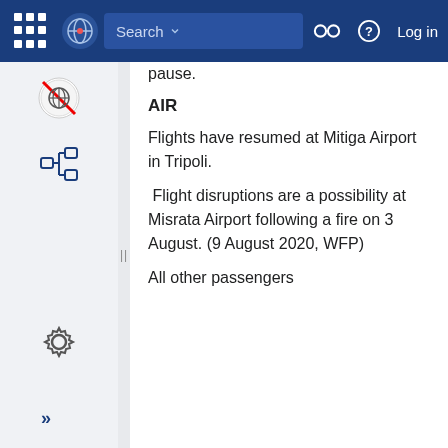Search  Log in
pause.
AIR
Flights have resumed at Mitiga Airport in Tripoli.
Flight disruptions are a possibility at Misrata Airport following a fire on 3 August. (9 August 2020, WFP)
All other passengers